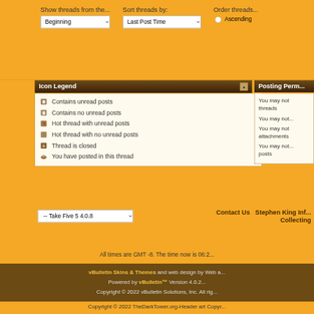[Figure (screenshot): Forum thread filter controls: Show threads from the... dropdown set to 'Beginning', Sort threads by: dropdown set to 'Last Post Time', Order threads radio with 'Ascending' option]
Icon Legend
Contains unread posts
Contains no unread posts
Hot thread with unread posts
Hot thread with no unread posts
Thread is closed
You have posted in this thread
Posting Perm...
You may not... threads
You may not...
You may not... attachments
You may not... posts
-- Take Five 5 4.0.8
Contact Us   Stephen King Inf... Collecting
All times are GMT -8. The time now is 06:2...
vBulletin Skins & Themes and web design by Web a... Powered by vBulletin™ Version 4.0.... Copyright © 2022 vBulletin Solutions, Inc. All rig...
Copyright © 2022 TheDarkTower.org-Header art Copyr...